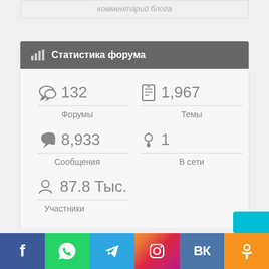комментарий блога
Статистика форума
[Figure (infographic): Forum statistics widget showing: Форумы 132, Темы 1,967, Сообщения 8,933, В сети 1, Участники 87.8 Тыс.]
[Figure (infographic): Social media sharing bar with Facebook, WhatsApp, Telegram, Instagram, VK, and Odnoklassniki buttons]